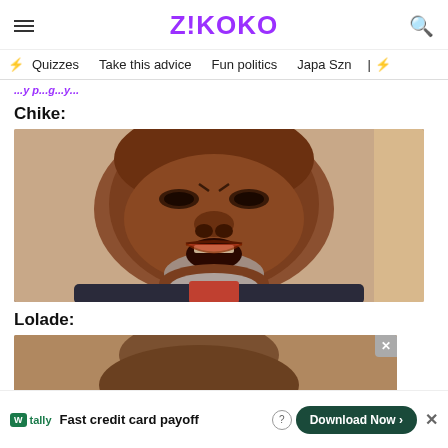Z!KOKO
Quizzes  Take this advice  Fun politics  Japa Szn
Chike:
[Figure (photo): A bald man with a grey beard making a contorted facial expression, mouth open, wearing a dark jacket with a red collar]
Lolade:
[Figure (photo): Partial view of a person, bottom portion of image]
[Figure (screenshot): Advertisement banner: Tally - Fast credit card payoff - Download Now button]